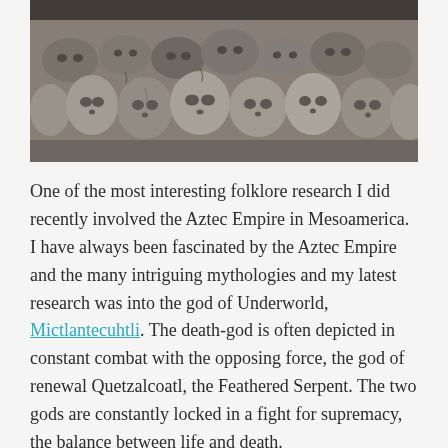[Figure (photo): Photograph of a large collection of human skulls and bones stacked together, grey-toned, densely packed, archaeological in nature]
One of the most interesting folklore research I did recently involved the Aztec Empire in Mesoamerica. I have always been fascinated by the Aztec Empire and the many intriguing mythologies and my latest research was into the god of Underworld, Mictlantecuhtli. The death-god is often depicted in constant combat with the opposing force, the god of renewal Quetzalcoatl, the Feathered Serpent. The two gods are constantly locked in a fight for supremacy, the balance between life and death.
The Aztecs practised human sacrifice on a colossal scale and the remnants of these acts are now on view to the world...